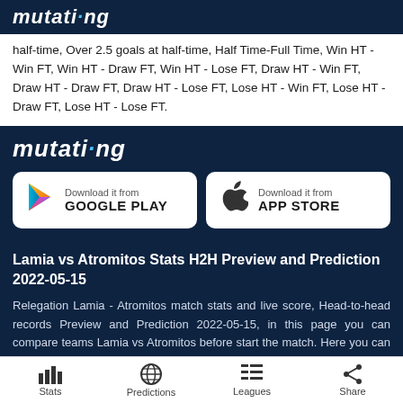mutating
half-time, Over 2.5 goals at half-time, Half Time-Full Time, Win HT - Win FT, Win HT - Draw FT, Win HT - Lose FT, Draw HT - Win FT, Draw HT - Draw FT, Draw HT - Lose FT, Lose HT - Win FT, Lose HT - Draw FT, Lose HT - Lose FT.
[Figure (logo): mutating app logo in white italic bold text on dark blue background]
[Figure (screenshot): Download it from GOOGLE PLAY button with Google Play triangle icon]
[Figure (screenshot): Download it from APP STORE button with Apple logo]
Lamia vs Atromitos Stats H2H Preview and Prediction 2022-05-15
Relegation Lamia - Atromitos match stats and live score, Head-to-head records Preview and Prediction 2022-05-15, in this page you can compare teams Lamia vs Atromitos before start the match. Here you can easy to compare statistics for both teams. If you want to check live score or game
Stats   Predictions   Leagues   Share